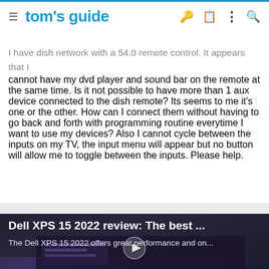tom's guide
I have dish network with a 54.0 remote control. It appears that I cannot have my dvd player and sound bar on the remote at the same time. Is it not possible to have more than 1 aux device connected to the dish remote? Its seems to me it's one or the other. How can I connect them without having to go back and forth with programming routine everytime I want to use my devices? Also I cannot cycle between the inputs on my TV, the input menu will appear but no button will allow me to toggle between the inputs. Please help.
[Figure (screenshot): Video card showing Dell XPS 15 2022 review article thumbnail with dark laptop background and play button. Title: 'Dell XPS 15 2022 review: The best ...' Subtitle: 'The Dell XPS 15 2022 offers great performance and on...']